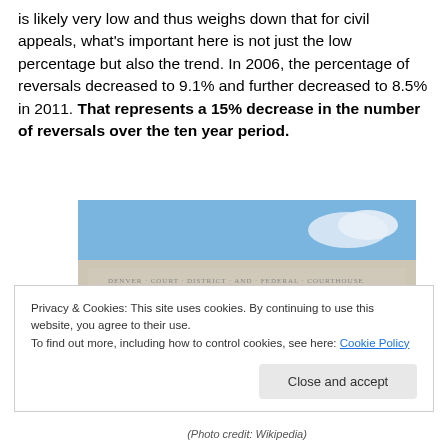is likely very low and thus weighs down that for civil appeals, what's important here is not just the low percentage but also the trend. In 2006, the percentage of reversals decreased to 9.1% and further decreased to 8.5% in 2011. That represents a 15% decrease in the number of reversals over the ten year period.
[Figure (photo): Photograph of a neoclassical courthouse building exterior showing ornate Ionic columns and the building's inscription frieze against a blue sky]
(Photo credit: Wikipedia)
Privacy & Cookies: This site uses cookies. By continuing to use this website, you agree to their use.
To find out more, including how to control cookies, see here: Cookie Policy